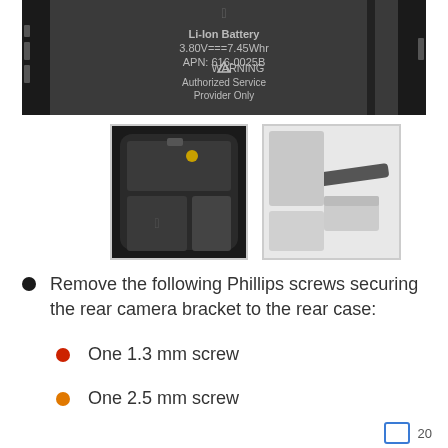[Figure (photo): iPhone interior showing Li-Ion Battery labeled 3.80V===7.45Whr APN: 616-0025B with WARNING Authorized Service Provider Only text, showing internal components]
[Figure (photo): Small thumbnail photo of iPhone opened showing internal components including battery and camera area from above]
[Figure (photo): Small thumbnail photo showing a tool or pry tool being used on iPhone components]
Remove the following Phillips screws securing the rear camera bracket to the rear case:
One 1.3 mm screw
One 2.5 mm screw
20